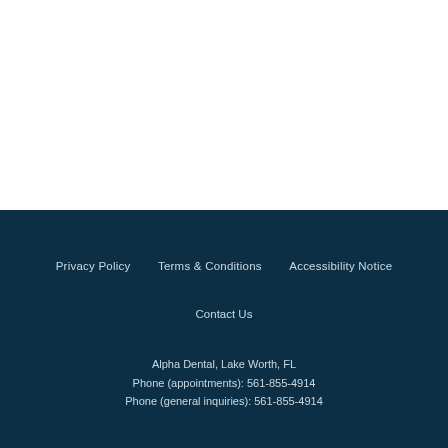Privacy Policy    Terms & Conditions    Accessibility Notice
Contact Us
Alpha Dental, Lake Worth, FL
Phone (appointments): 561-855-4914
Phone (general inquiries): 561-855-4914